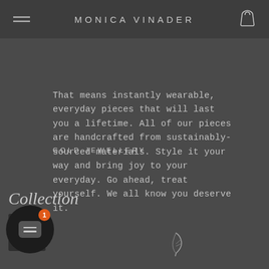MONICA VINADER
That means instantly wearable, everyday pieces that will last you a lifetime. All of our pieces are handcrafted from sustainably-sourced materials. Style it your way and bring joy to your everyday. Go ahead, treat yourself. We all know you deserve it.
GOLD JEWELLERY
Collection
[Figure (photo): Product card thumbnail and chat widget overlay at bottom left, feather icon at bottom right]